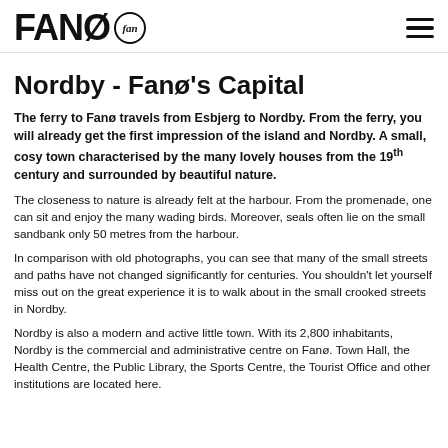FANØ fin
Nordby - Fanø's Capital
The ferry to Fanø travels from Esbjerg to Nordby. From the ferry, you will already get the first impression of the island and Nordby. A small, cosy town characterised by the many lovely houses from the 19th century and surrounded by beautiful nature.
The closeness to nature is already felt at the harbour. From the promenade, one can sit and enjoy the many wading birds. Moreover, seals often lie on the small sandbank only 50 metres from the harbour.
In comparison with old photographs, you can see that many of the small streets and paths have not changed significantly for centuries. You shouldn't let yourself miss out on the great experience it is to walk about in the small crooked streets in Nordby.
Nordby is also a modern and active little town. With its 2,800 inhabitants, Nordby is the commercial and administrative centre on Fanø. Town Hall, the Health Centre, the Public Library, the Sports Centre, the Tourist Office and other institutions are located here.